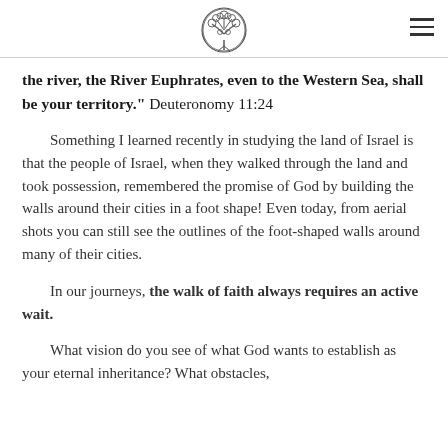[Tree of Life logo] [Navigation menu icon]
the river, the River Euphrates, even to the Western Sea, shall be your territory." Deuteronomy 11:24
Something I learned recently in studying the land of Israel is that the people of Israel, when they walked through the land and took possession, remembered the promise of God by building the walls around their cities in a foot shape! Even today, from aerial shots you can still see the outlines of the foot-shaped walls around many of their cities.
In our journeys, the walk of faith always requires an active wait.
What vision do you see of what God wants to establish as your eternal inheritance? What obstacles,